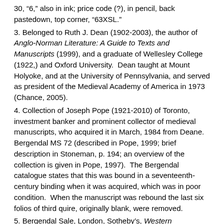30, “6,” also in ink; price code (?), in pencil, back pastedown, top corner, “63XSL.”
3. Belonged to Ruth J. Dean (1902-2003), the author of Anglo-Norman Literature: A Guide to Texts and Manuscripts (1999), and a graduate of Wellesley College (1922,) and Oxford University. Dean taught at Mount Holyoke, and at the University of Pennsylvania, and served as president of the Medieval Academy of America in 1973 (Chance, 2005).
4. Collection of Joseph Pope (1921-2010) of Toronto, investment banker and prominent collector of medieval manuscripts, who acquired it in March, 1984 from Deane. Bergendal MS 72 (described in Pope, 1999; brief description in Stoneman, p. 194; an overview of the collection is given in Pope, 1997). The Bergendal catalogue states that this was bound in a seventeenth-century binding when it was acquired, which was in poor condition. When the manuscript was rebound the last six folios of third quire, originally blank, were removed.
5. Bergendal Sale, London, Sotheby’s, Western Manuscripts and Miniatures, July 5, 2011, lot 80.